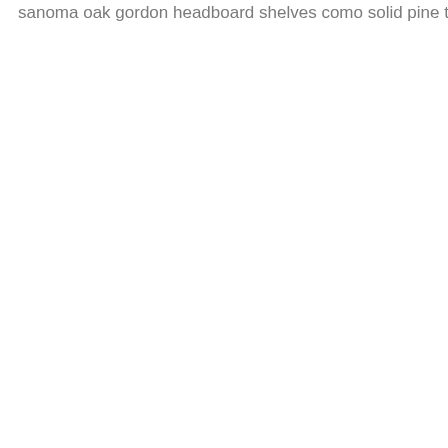sanoma oak gordon headboard shelves como solid pine timber my